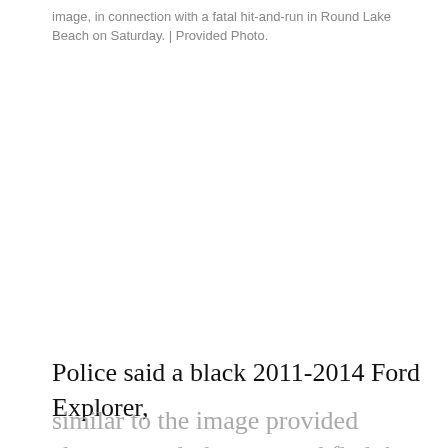image, in connection with a fatal hit-and-run in Round Lake Beach on Saturday. | Provided Photo.
Police said a black 2011-2014 Ford Explorer, similar to the image provided above, struck the man and fled the scene.